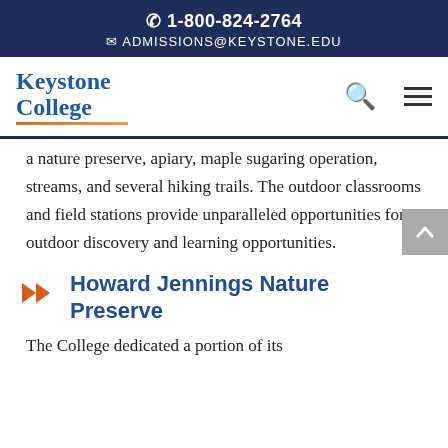1-800-824-2764 ADMISSIONS@KEYSTONE.EDU
[Figure (logo): Keystone College logo with blue text and orange underline]
a nature preserve, apiary, maple sugaring operation, streams, and several hiking trails. The outdoor classrooms and field stations provide unparalleled opportunities for outdoor discovery and learning opportunities.
Howard Jennings Nature Preserve
The College dedicated a portion of its